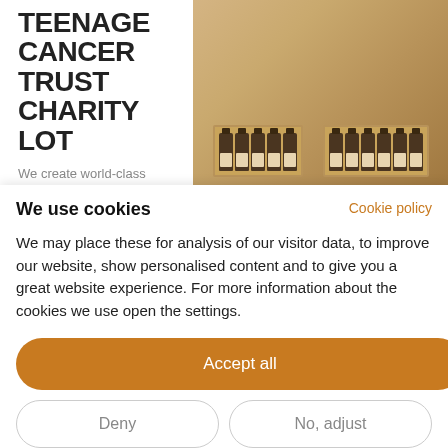[Figure (screenshot): Top banner showing 'TEENAGE CANCER TRUST CHARITY LOT' text on left with subtitle 'We create world-class cancer services for young people in the' and product bottles in boxes on right]
Cookie policy
We use cookies
We may place these for analysis of our visitor data, to improve our website, show personalised content and to give you a great website experience. For more information about the cookies we use open the settings.
Accept all
Deny
No, adjust